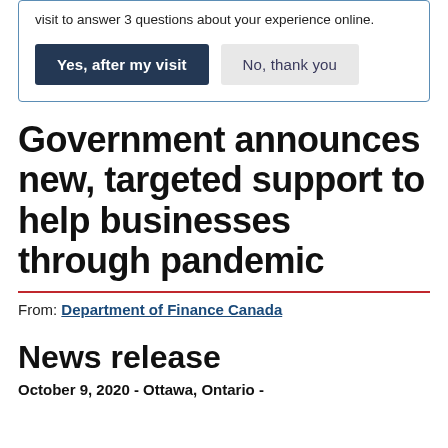visit to answer 3 questions about your experience online.
[Figure (other): Survey prompt box with two buttons: 'Yes, after my visit' (dark navy) and 'No, thank you' (light grey)]
Government announces new, targeted support to help businesses through pandemic
From: Department of Finance Canada
News release
October 9, 2020 - Ottawa, Ontario -